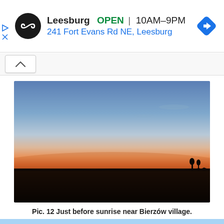[Figure (screenshot): Advertisement banner for Leesburg store showing logo, OPEN status, hours 10AM-9PM, address 241 Fort Evans Rd NE Leesburg, and a blue directions diamond icon]
[Figure (photo): Landscape photograph of a flat plain just before sunrise near Bierzów village. The sky transitions from deep blue at top through pale blue and peach to a vivid orange-red glow at the horizon. The foreground is a dark silhouette of flat terrain with a few distant trees on the right.]
Pic. 12 Just before sunrise near Bierzów village.